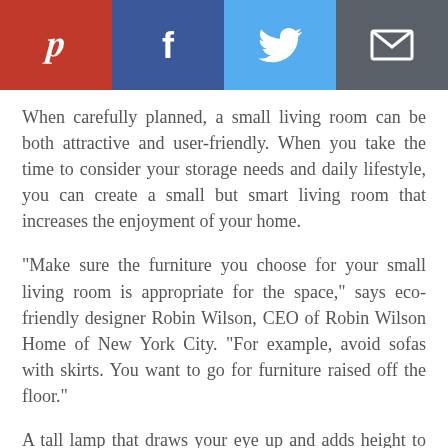[Figure (infographic): Social media sharing bar with four buttons: Pinterest (red), Facebook (dark blue), Twitter (light blue), Email (dark gray), each with white icon]
When carefully planned, a small living room can be both attractive and user-friendly. When you take the time to consider your storage needs and daily lifestyle, you can create a small but smart living room that increases the enjoyment of your home.
"Make sure the furniture you choose for your small living room is appropriate for the space," says eco-friendly designer Robin Wilson, CEO of Robin Wilson Home of New York City. "For example, avoid sofas with skirts. You want to go for furniture raised off the floor."
A tall lamp that draws your eye up and adds height to the room or a stylish chair with a pop of color or interesting back are other tools Wilson likes to use to make a small living room feel larger and give it personality. Other simple ideas, like going for a space-saving flat-screen TV or a laptop that hides out of the way instead of a stationary desktop computer, keep the